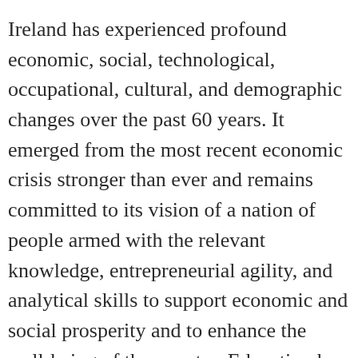Ireland has experienced profound economic, social, technological, occupational, cultural, and demographic changes over the past 60 years. It emerged from the most recent economic crisis stronger than ever and remains committed to its vision of a nation of people armed with the relevant knowledge, entrepreneurial agility, and analytical skills to support economic and social prosperity and to enhance the well-being of the country. Education has been a central component of Ireland's human capital development. A firm and shared belief in the latent value of human capital, particularly in a small island economy, has been the foundation for a range of social and economic strategies designed to ensure that